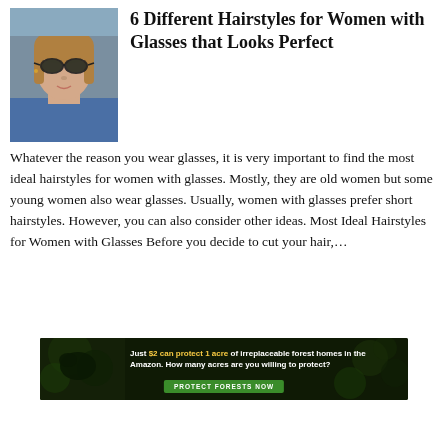[Figure (photo): Woman wearing sunglasses and a blue top with medium-length blonde hair]
6 Different Hairstyles for Women with Glasses that Looks Perfect
Whatever the reason you wear glasses, it is very important to find the most ideal hairstyles for women with glasses. Mostly, they are old women but some young women also wear glasses. Usually, women with glasses prefer short hairstyles. However, you can also consider other ideas. Most Ideal Hairstyles for Women with Glasses Before you decide to cut your hair,...
[Figure (infographic): Advertisement banner: dark forest background with bird. Text reads 'Just $2 can protect 1 acre of irreplaceable forest homes in the Amazon. How many acres are you willing to protect?' with a green button 'PROTECT FORESTS NOW']